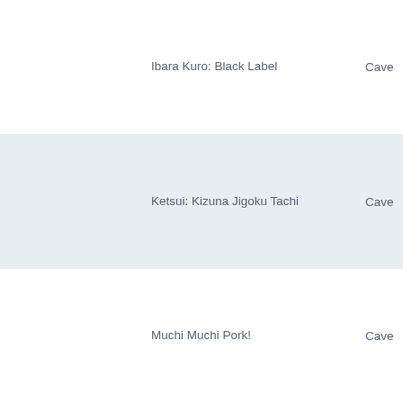| Game | Developer | Publisher |
| --- | --- | --- |
| Ibara Kuro: Black Label | Cave | Cave |
| Ketsui: Kizuna Jigoku Tachi | Cave | Cave |
| Muchi Muchi Pork! | Cave | AMI |